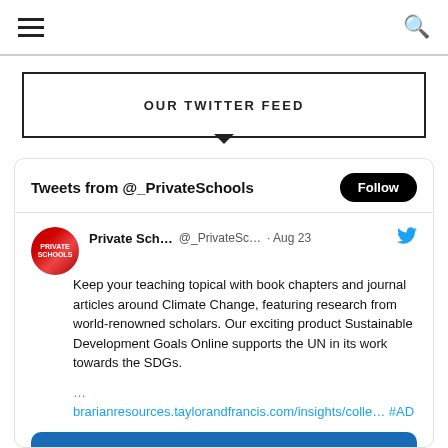≡ [hamburger menu] [search icon]
OUR TWITTER FEED
Tweets from @_PrivateSchools
Private Sch... @_PrivateSc... · Aug 23
Keep your teaching topical with book chapters and journal articles around Climate Change, featuring research from world-renowned scholars. Our exciting product Sustainable Development Goals Online supports the UN in its work towards the SDGs.
...
brarianresources.taylorandfrancis.com/insights/colle… #AD